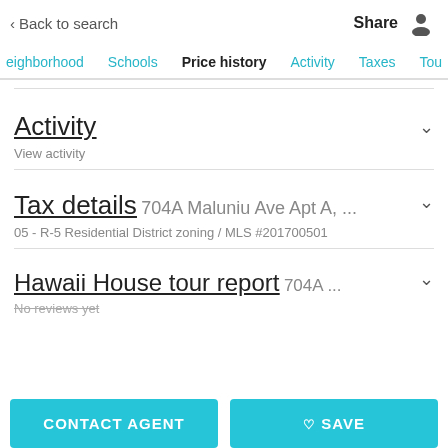< Back to search   Share
Neighborhood  Schools  Price history  Activity  Taxes  Tour
Activity
View activity
Tax details 704A Maluniu Ave Apt A, ...
05 - R-5 Residential District zoning / MLS #201700501
Hawaii House tour report 704A ...
No reviews yet
CONTACT AGENT   ♡ SAVE